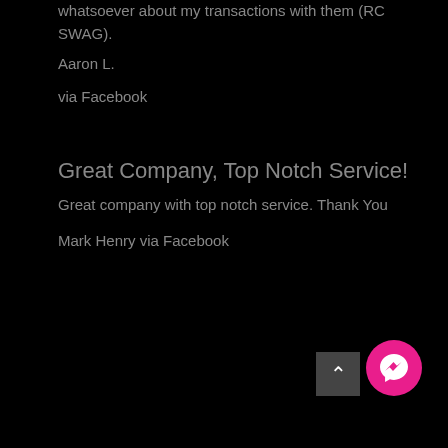whatsoever about my transactions with them (RC SWAG).
Aaron L.
via Facebook
Great Company, Top Notch Service!
Great company with top notch service. Thank You
Mark Henry via Facebook
[Figure (other): Scroll to top button (dark rectangle with up arrow) and Facebook Messenger chat button (pink circle with Messenger logo) in bottom right corner]